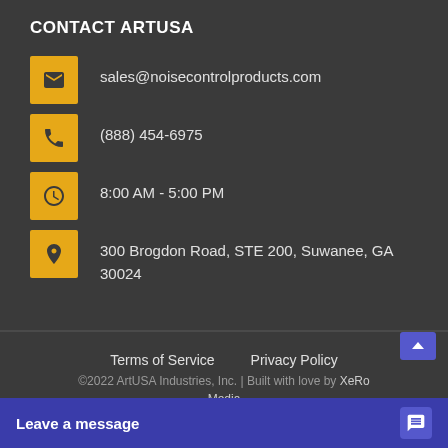CONTACT ARTUSA
sales@noisecontrolproducts.com
(888) 454-6975
8:00 AM - 5:00 PM
300 Brogdon Road, STE 200, Suwanee, GA 30024
Terms of Service   Privacy Policy
©2022 ArtUSA Industries, Inc. | Built with love by XeRo Media
Leave a message